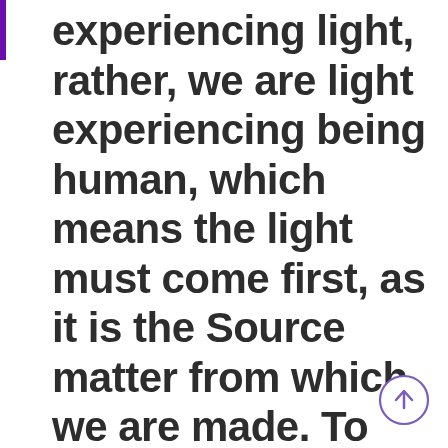experiencing light, rather, we are light experiencing being human, which means the light must come first, as it is the Source matter from which we are made. To
[Figure (other): Circular scroll-to-top button with an upward arrow, purple outline on white background, bottom-right corner]